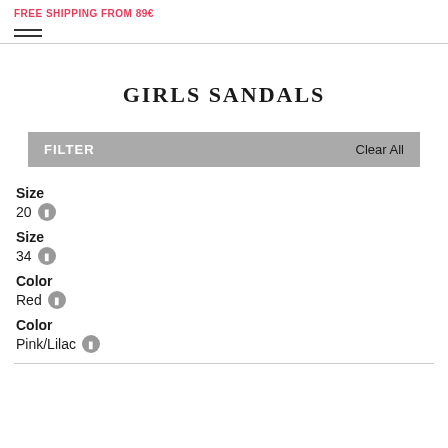FREE SHIPPING FROM 89€
GIRLS SANDALS
FILTER   Clear All
Size
20
Size
34
Color
Red
Color
Pink/Lilac